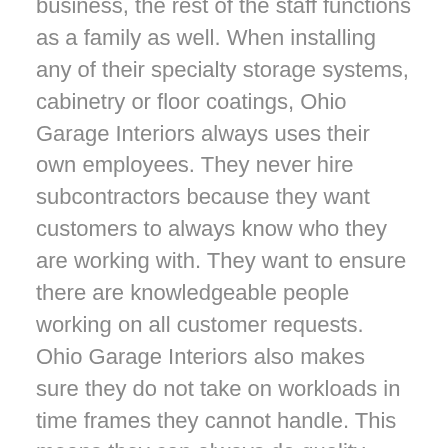business, the rest of the staff functions as a family as well. When installing any of their specialty storage systems, cabinetry or floor coatings, Ohio Garage Interiors always uses their own employees. They never hire subcontractors because they want customers to always know who they are working with. They want to ensure there are knowledgeable people working on all customer requests. Ohio Garage Interiors also makes sure they do not take on workloads in time frames they cannot handle. This means they can always do quality work and satisfy any customer's needs.
Ohio Garage Interiors take pride in traditions such as hiring intelligent people, using quality products and staying true to their word. They also value punctuality at a high degree to keep customers from worrying about the tardiness of employees. In addition, the products they use come from reputable companies from around the country. Coupled with their advanced installation